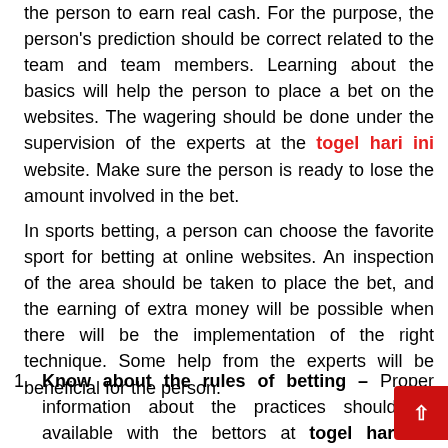the person to earn real cash. For the purpose, the person's prediction should be correct related to the team and team members. Learning about the basics will help the person to place a bet on the websites. The wagering should be done under the supervision of the experts at the togel hari ini website. Make sure the person is ready to lose the amount involved in the bet.
In sports betting, a person can choose the favorite sport for betting at online websites. An inspection of the area should be taken to place the bet, and the earning of extra money will be possible when there will be the implementation of the right technique. Some help from the experts will be beneficial for the person.
Know about the rules of betting – Proper information about the practices should be available with the bettors at togel hari ini websites. The playing strategies and methods should be according to the rules established